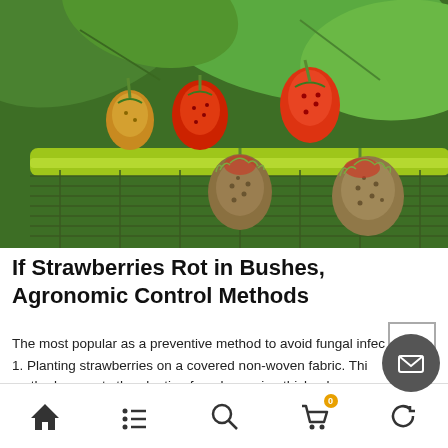[Figure (photo): Close-up photo of strawberries hanging from a plant in a green planter box, showing ripe red strawberries and two small rotting/diseased strawberries at the bottom front]
If Strawberries Rot in Bushes, Agronomic Control Methods
The most popular as a preventive method to avoid fungal infec
1. Planting strawberries on a covered non-woven fabric. Thi method prevents the planting from becoming thicker bec
[navigation icons: home, list, search, cart(0), back]